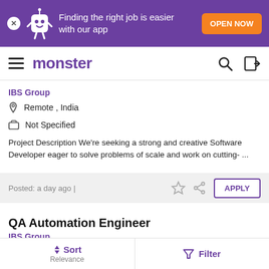[Figure (screenshot): Purple app promotion banner with mascot character, text 'Finding the right job is easier with our app', and orange 'OPEN NOW' button]
[Figure (logo): Monster job search website navigation bar with hamburger menu, monster logo in purple, search icon, and login icon]
IBS Group
Remote , India
Not Specified
Project Description We're seeking a strong and creative Software Developer eager to solve problems of scale and work on cutting- ...
Posted: a day ago |
QA Automation Engineer
IBS Group
India , Bengaluru / Bangalore
Sort Relevance | Filter